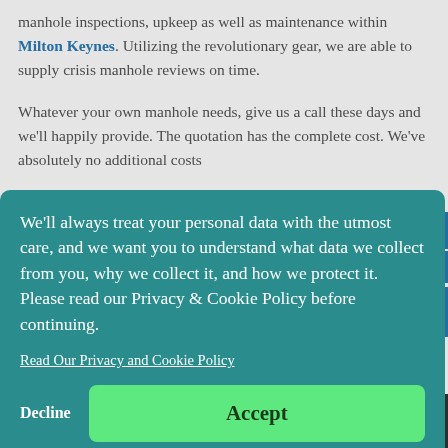manhole inspections, upkeep as well as maintenance within Milton Keynes. Utilizing the revolutionary gear, we are able to supply crisis manhole reviews on time.
Whatever your own manhole needs, give us a call these days and we'll happily provide. The quotation has the complete cost. We've absolutely no additional costs
We'll always treat your personal data with the utmost care, and we want you to understand what data we collect from you, why we collect it, and how we protect it. Please read our Privacy & Cookie Policy before continuing.
Read Our Privacy and Cookie Policy
Decline
Accept
Information About Milton Keynes
Plumbers Review Milton Keynes, we are pleased to offer Manhole...